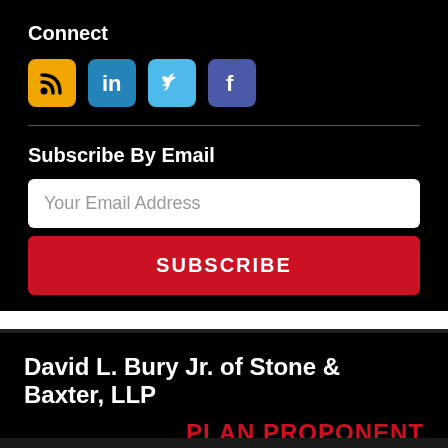Connect
[Figure (illustration): Four social media icons: RSS (orange), LinkedIn (blue), Twitter (light blue), Facebook (dark blue/purple)]
Subscribe By Email
Your Email Address
SUBSCRIBE
David L. Bury Jr. of Stone & Baxter, LLP
PLAN PROPONENT